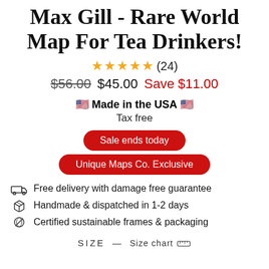Max Gill - Rare World Map For Tea Drinkers!
★★★★★ (24)
$56.00  $45.00  Save $11.00
🇺🇸 Made in the USA 🇺🇸
Tax free
Sale ends today
Unique Maps Co. Exclusive
Free delivery with damage free guarantee
Handmade & dispatched in 1-2 days
Certified sustainable frames & packaging
SIZE — Size chart